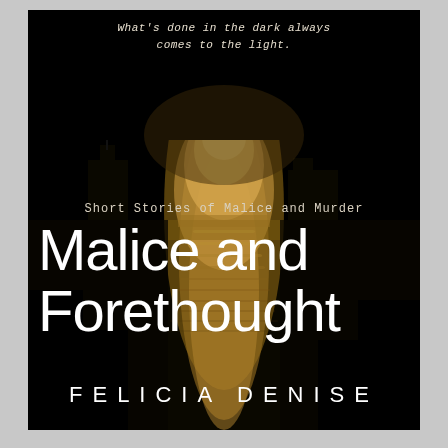[Figure (illustration): Dark dramatic book cover image with a night seascape showing moonlight reflecting on water with a silhouette of buildings/structures and golden/amber light glow on the water surface. Black background with atmospheric lighting.]
What's done in the dark always comes to the light.
Short Stories of Malice and Murder
Malice and Forethought
FELICIA DENISE